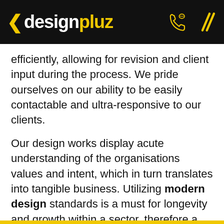designpluz
efficiently, allowing for revision and client input during the process. We pride ourselves on our ability to be easily contactable and ultra-responsive to our clients.
Our design works display acute understanding of the organisations values and intent, which in turn translates into tangible business. Utilizing modern design standards is a must for longevity and growth within a sector, therefore a clear graphic design strategy is the specialized skillset of this Sydney based graphic design agency, Designpluz.